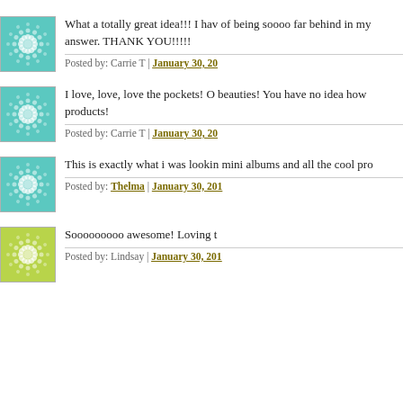[Figure (illustration): Teal/cyan circular starburst pattern avatar icon]
What a totally great idea!!! I hav of being soooo far behind in my answer. THANK YOU!!!!!
Posted by: Carrie T | January 30, 20...
[Figure (illustration): Teal/cyan circular starburst pattern avatar icon]
I love, love, love the pockets! O beauties! You have no idea how products!
Posted by: Carrie T | January 30, 20...
[Figure (illustration): Teal/cyan circular starburst pattern avatar icon]
This is exactly what i was lookin mini albums and all the cool pro...
Posted by: Thelma | January 30, 201...
[Figure (illustration): Yellow-green circular starburst pattern avatar icon]
Sooooooooo awesome! Loving t
Posted by: Lindsay | January 30, 201...